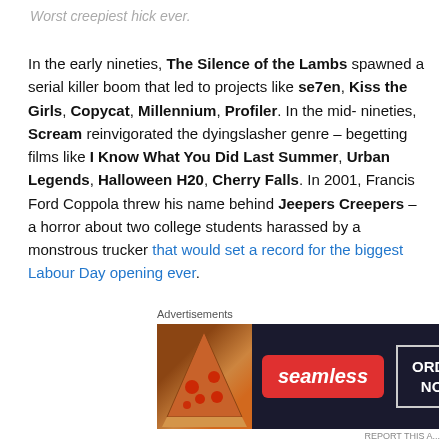Worst creepiest hick ever.
In the early nineties, The Silence of the Lambs spawned a serial killer boom that led to projects like se7en, Kiss the Girls, Copycat, Millennium, Profiler. In the mid-nineties, Scream reinvigorated the dyingslasher genre – begetting films like I Know What You Did Last Summer, Urban Legends, Halloween H20, Cherry Falls. In 2001, Francis Ford Coppola threw his name behind Jeepers Creepers – a horror about two college students harassed by a monstrous trucker that would set a record for the biggest Labour Day opening ever.
With the arrival of the millennium, it seemed like horror
[Figure (other): Seamless food delivery advertisement banner showing pizza and ORDER NOW button]